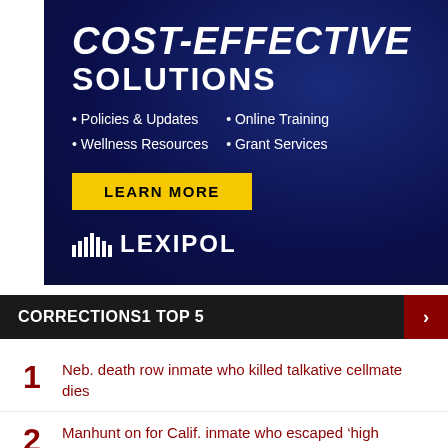[Figure (illustration): Lexipol advertisement banner with dark navy blue background. Headline reads COST-EFFECTIVE SOLUTIONS. Bullet points: Policies & Updates, Wellness Resources, Online Training, Grant Services. Yellow LEARN MORE button. Lexipol logo at bottom.]
CORRECTIONS1 TOP 5
1 Neb. death row inmate who killed talkative cellmate dies
2 Manhunt on for Calif. inmate who escaped 'high security' jail yard